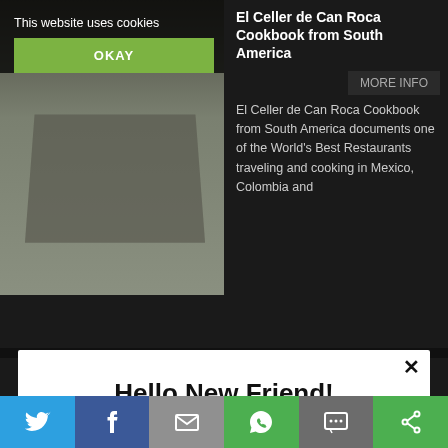This website uses cookies
OKAY
El Celler de Can Roca Cookbook from South America
MORE INFO
El Celler de Can Roca Cookbook from South America documents one of the World's Best Restaurants traveling and cooking in Mexico, Colombia and
Hello New Friend!
Don't miss out! Make sure to get the latest food culture with the Ateriet Newsletter!
Enter your email
Yes, I want great food culture delivered